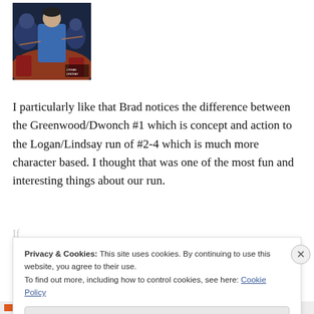[Figure (illustration): Comic book cover showing a man in a blue jacket surrounded by dark figures, with dramatic lighting and orange/red tones in the background.]
I particularly like that Brad notices the difference between the Greenwood/Dwonch #1 which is concept and action to the Logan/Lindsay run of #2-4 which is much more character based. I thought that was one of the most fun and interesting things about our run.
Privacy & Cookies: This site uses cookies. By continuing to use this website, you agree to their use.
To find out more, including how to control cookies, see here: Cookie Policy
Close and accept